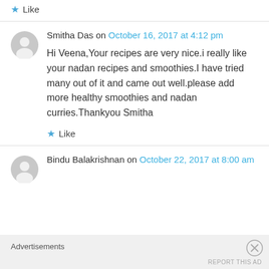★ Like
Smitha Das on October 16, 2017 at 4:12 pm
Hi Veena,Your recipes are very nice.i really like your nadan recipes and smoothies.I have tried many out of it and came out well.please add more healthy smoothies and nadan curries.Thankyou Smitha
★ Like
Bindu Balakrishnan on October 22, 2017 at 8:00 am
Advertisements